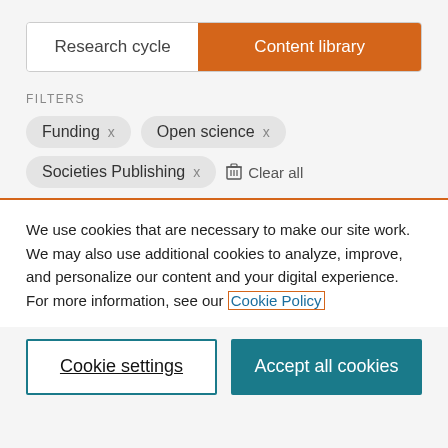[Figure (screenshot): Tab navigation bar with 'Research cycle' (inactive, white background) and 'Content library' (active, orange background) tabs]
FILTERS
Funding ×
Open science ×
Societies Publishing ×
We use cookies that are necessary to make our site work. We may also use additional cookies to analyze, improve, and personalize our content and your digital experience. For more information, see our Cookie Policy
Cookie settings
Accept all cookies